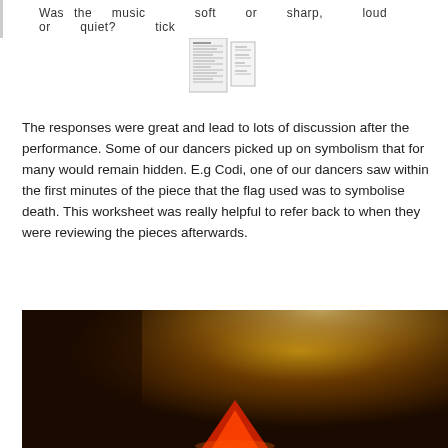Was the music soft or sharp, loud or quiet? tick
[Figure (other): Small thumbnail image of a worksheet table/form]
The responses were great and lead to lots of discussion after the performance. Some of our dancers picked up on symbolism that for many would remain hidden. E.g Codi, one of our dancers saw within the first minutes of the piece that the flag used was to symbolise death. This worksheet was really helpful to refer back to when they were reviewing the pieces afterwards.
[Figure (photo): Dark brown/amber stage photo with a red/orange triangular shape (possibly a flag or costume element) visible at the bottom center, with spotlight effect in background]